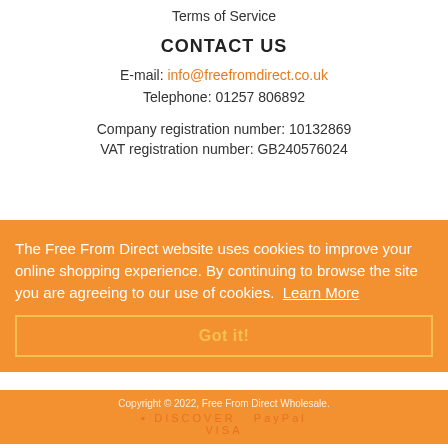Terms of Service
CONTACT US
E-mail: info@freefromdirect.co.uk
Telephone: 01257 806892
Company registration number: 10132869
VAT registration number: GB240576024
The Free From Direct website uses cookies to improve your online shopping experience. By continuing to browse the site you are agreeing to our use of cookies. Learn More
Got it!
Copyright © 2022, Free From Direct Wholesale.